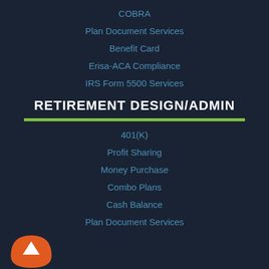COBRA
Plan Document Services
Benefit Card
Erisa-ACA Compliance
IRS Form 5500 Services
RETIREMENT DESIGN/ADMIN
401(K)
Profit Sharing
Money Purchase
Combo Plans
Cash Balance
Plan Document Services